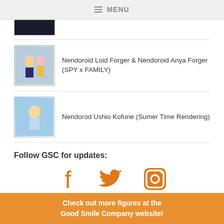≡ MENU
[Figure (photo): Partially visible thumbnail image (cropped) — dark colored figure image]
Nendoroid Loid Forger & Nendoroid Anya Forger (SPY x FAMILY)
Nendorod Ushio Kofune (Sumer Time Rendering)
Follow GSC for updates:
[Figure (logo): Facebook, Twitter, and Instagram social media icons in orange]
Check out more figures at the Good Smile Company website!